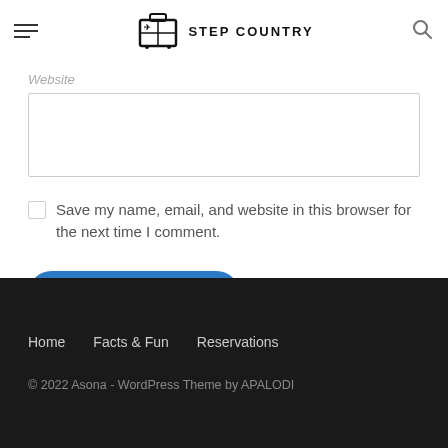Step Country
Website
Save my name, email, and website in this browser for the next time I comment.
POST COMMENT
Home  Facts & Fun  Reservations
© 2022 Asona - WordPress Theme by APALODI